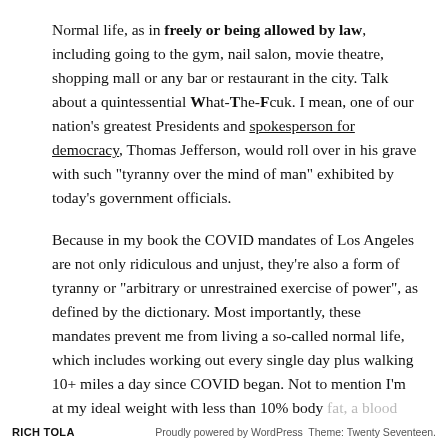Normal life, as in freely or being allowed by law, including going to the gym, nail salon, movie theatre, shopping mall or any bar or restaurant in the city. Talk about a quintessential What-The-Fcuk. I mean, one of our nation's greatest Presidents and spokesperson for democracy, Thomas Jefferson, would roll over in his grave with such "tyranny over the mind of man" exhibited by today's government officials.
Because in my book the COVID mandates of Los Angeles are not only ridiculous and unjust, they're also a form of tyranny or "arbitrary or unrestrained exercise of power", as defined by the dictionary. Most importantly, these mandates prevent me from living a so-called normal life, which includes working out every single day plus walking 10+ miles a day since COVID began. Not to mention I'm at my ideal weight with less than 10% body fat, a blood pressure of 110 over 60, plus a great bill of
RICH TOLA    Proudly powered by WordPress Theme: Twenty Seventeen.